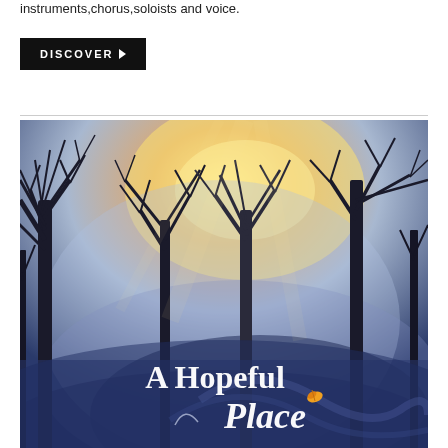instruments,chorus,soloists and voice.
DISCOVER ▶
[Figure (illustration): Album cover showing bare winter trees silhouetted against a warm glowing sky with swirling mist, titled 'A Hopeful Place' with ornate script lettering and an autumn leaf accent]